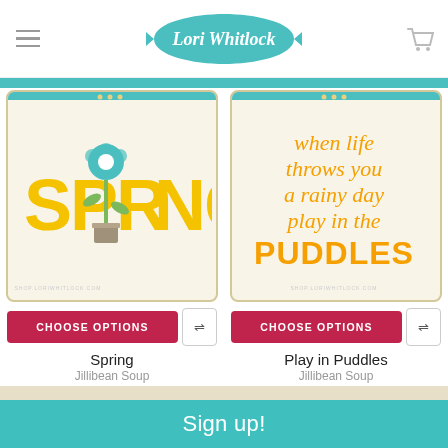Lori Whitlock
[Figure (illustration): Spring SVG design with yellow SPRING text and teal flower in pot]
CHOOSE OPTIONS
Spring
Jillibean Soup
$1.49
[Figure (illustration): Play in Puddles SVG design with orange script text reading 'when life throws you a rainy day play in the PUDDLES']
CHOOSE OPTIONS
Play in Puddles
Jillibean Soup
$1.49
[Figure (illustration): Jillibean Soup digital cutting file card - partially visible at bottom left]
[Figure (illustration): Jillibean Soup digital cutting file card - partially visible at bottom right]
Sign up!